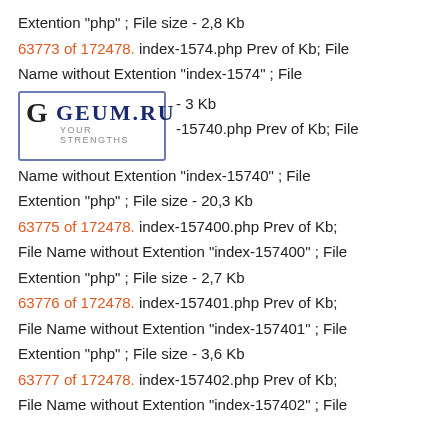Extention "php" ; File size - 2,8 Kb
63773 of 172478. index-1574.php Prev of Kb; File Name without Extention "index-1574" ; File
[Figure (logo): GEUM.RU logo with letter G in a box and tagline YOUR STRENGTHS]
- 3 Kb
-15740.php Prev of Kb; File Name without Extention "index-15740" ; File Extention "php" ; File size - 20,3 Kb
63775 of 172478. index-157400.php Prev of Kb; File Name without Extention "index-157400" ; File Extention "php" ; File size - 2,7 Kb
63776 of 172478. index-157401.php Prev of Kb; File Name without Extention "index-157401" ; File Extention "php" ; File size - 3,6 Kb
63777 of 172478. index-157402.php Prev of Kb; File Name without Extention "index-157402" ; File